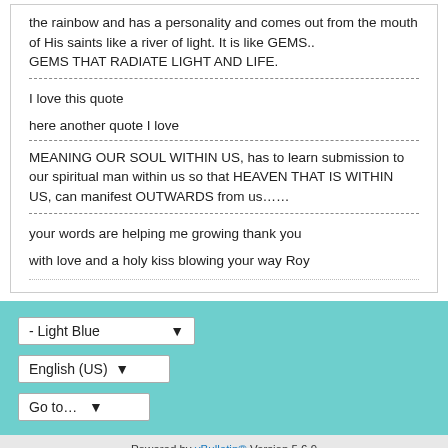the rainbow and has a personality and comes out from the mouth of His saints like a river of light. It is like GEMS.. GEMS THAT RADIATE LIGHT AND LIFE.
I love this quote
here another quote I love
MEANING OUR SOUL WITHIN US, has to learn submission to our spiritual man within us so that HEAVEN THAT IS WITHIN US, can manifest OUTWARDS from us......
your words are helping me growing thank you
with love and a holy kiss blowing your way Roy
- Light Blue
English (US)
Go to...
Powered by vBulletin® Version 5.6.9
Copyright © 2022 MH Sub I, LLC dba vBulletin. All rights reserved.
All times are GMT-6. This page was generated at 08:19 PM.